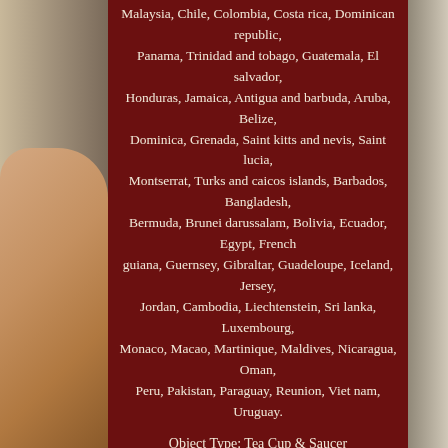Malaysia, Chile, Colombia, Costa rica, Dominican republic, Panama, Trinidad and tobago, Guatemala, El salvador, Honduras, Jamaica, Antigua and barbuda, Aruba, Belize, Dominica, Grenada, Saint kitts and nevis, Saint lucia, Montserrat, Turks and caicos islands, Barbados, Bangladesh, Bermuda, Brunei darussalam, Bolivia, Ecuador, Egypt, French guiana, Guernsey, Gibraltar, Guadeloupe, Iceland, Jersey, Jordan, Cambodia, Liechtenstein, Sri lanka, Luxembourg, Monaco, Macao, Martinique, Maldives, Nicaragua, Oman, Peru, Pakistan, Paraguay, Reunion, Viet nam, Uruguay.
Object Type: Tea Cup & Saucer
[Figure (screenshot): Button with text 'More Information' and 'ebay' below, dark brown rounded rectangle with tan border]
[Figure (screenshot): Button with text 'View Price' and 'ebay' below, dark brown rounded rectangle with tan border]
[Figure (screenshot): Facebook Like button, blue background]
[Figure (screenshot): Social media icons: Facebook (blue), Twitter (light blue), Pinterest (red), Email (blue)]